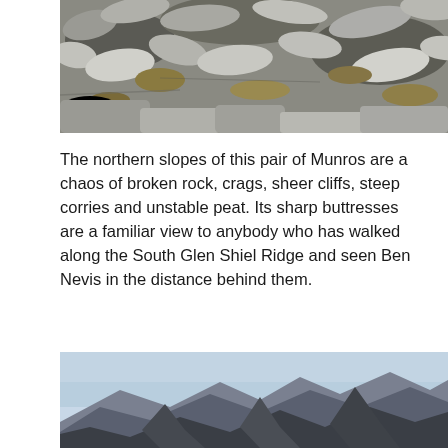[Figure (photo): Close-up photograph of rocky mountain terrain showing grey/white broken rocks and stones scattered across the ground with dry brownish-yellow grass or vegetation visible between the rocks.]
The northern slopes of this pair of Munros are a chaos of broken rock, crags, sheer cliffs, steep corries and unstable peat. Its sharp buttresses are a familiar view to anybody who has walked along the South Glen Shiel Ridge and seen Ben Nevis in the distance behind them.
[Figure (photo): Mountain landscape photograph showing dark jagged mountain peaks against a pale blue hazy sky, with the mountains appearing in silhouette with some rocky detail visible.]